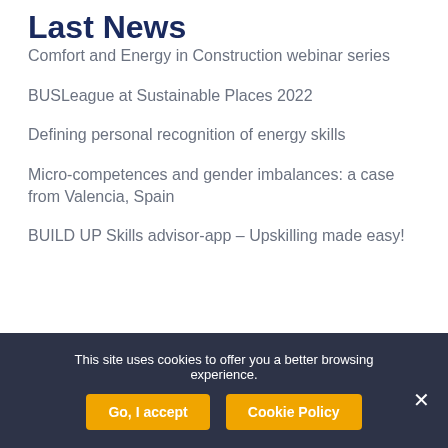Last News
Comfort and Energy in Construction webinar series
BUSLeague at Sustainable Places 2022
Defining personal recognition of energy skills
Micro-competences and gender imbalances: a case from Valencia, Spain
BUILD UP Skills advisor-app – Upskilling made easy!
This site uses cookies to offer you a better browsing experience. Go, I accept Cookie Policy ×